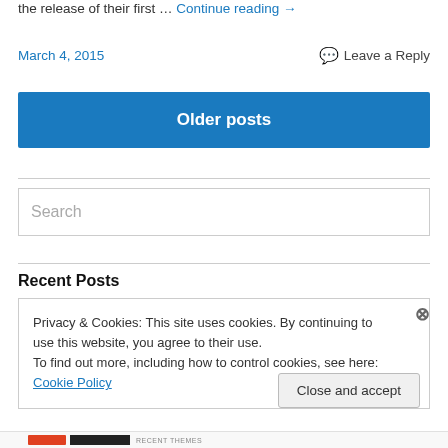the release of their first … Continue reading →
March 4, 2015   Leave a Reply
Older posts
Search
Recent Posts
Privacy & Cookies: This site uses cookies. By continuing to use this website, you agree to their use.
To find out more, including how to control cookies, see here: Cookie Policy
Close and accept